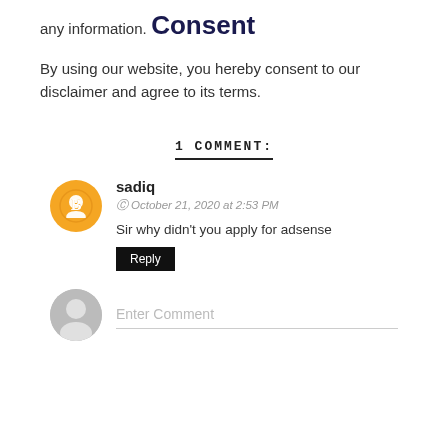any information.
Consent
By using our website, you hereby consent to our disclaimer and agree to its terms.
1 COMMENT:
sadiq
October 21, 2020 at 2:53 PM
Sir why didn't you apply for adsense
Enter Comment